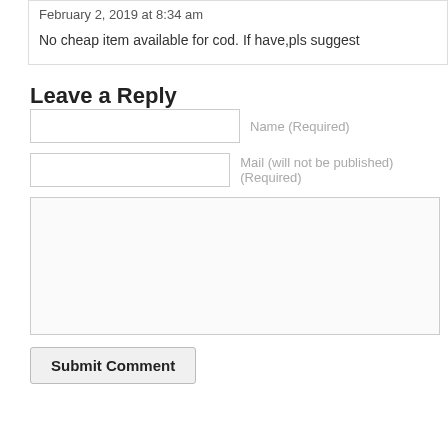February 2, 2019 at 8:34 am
No cheap item available for cod. If have,pls suggest
Leave a Reply
Name (Required)
Mail (will not be published) (Required)
Submit Comment